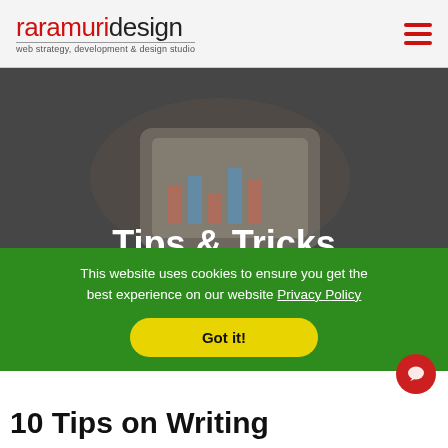raramuridesign — web strategy, development & design studio
Tips & Tricks
Articles to give you more insight
This website uses cookies to ensure you get the best experience on our website Privacy Policy
Got it!
10 Tips on Writing